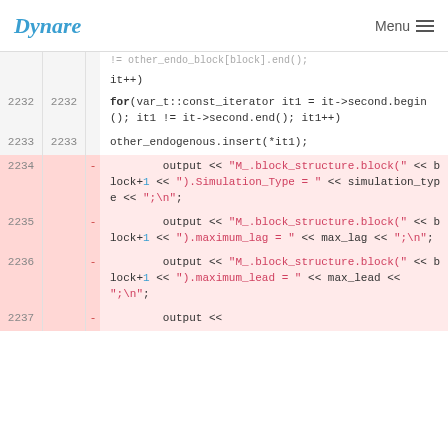Dynare  Menu
2232 2232   != other_endo_block[block].end(); it++) for(var_t::const_iterator it1 = it->second.begin(); it1 != it->second.end(); it1++)
2233 2233   other_endogenous.insert(*it1);
2234 -  output << "M_.block_structure.block(" << block+1 << ").Simulation_Type = " << simulation_type << ";\n";
2235 -  output << "M_.block_structure.block(" << block+1 << ").maximum_lag = " << max_lag << ";\n";
2236 -  output << "M_.block_structure.block(" << block+1 << ").maximum_lead = " << max_lead << ";\n";
2237 -  output <<